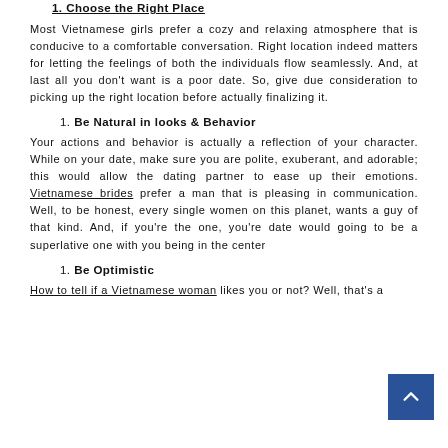1. Choose the Right Place
Most Vietnamese girls prefer a cozy and relaxing atmosphere that is conducive to a comfortable conversation. Right location indeed matters for letting the feelings of both the individuals flow seamlessly. And, at last all you don't want is a poor date. So, give due consideration to picking up the right location before actually finalizing it.
1. Be Natural in looks & Behavior
Your actions and behavior is actually a reflection of your character. While on your date, make sure you are polite, exuberant, and adorable; this would allow the dating partner to ease up their emotions. Vietnamese brides prefer a man that is pleasing in communication. Well, to be honest, every single women on this planet, wants a guy of that kind. And, if you're the one, you're date would going to be a superlative one with you being in the center
1. Be Optimistic
How to tell if a Vietnamese woman likes you or not? Well, that's a